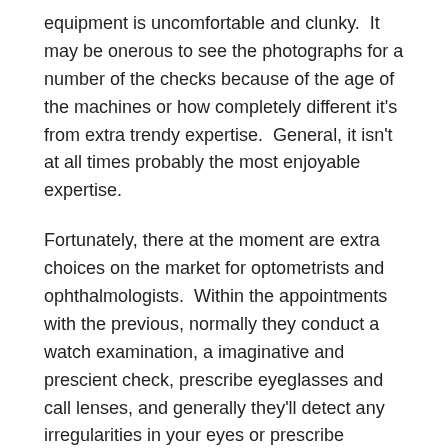equipment is uncomfortable and clunky.  It may be onerous to see the photographs for a number of the checks because of the age of the machines or how completely different it's from extra trendy expertise.  General, it isn't at all times probably the most enjoyable expertise.
Fortunately, there at the moment are extra choices on the market for optometrists and ophthalmologists.  Within the appointments with the previous, normally they conduct a watch examination, a imaginative and prescient check, prescribe eyeglasses and call lenses, and generally they'll detect any irregularities in your eyes or prescribe medication to deal with any points. That's typically thought of a number of the routine in an appointment.
The Imaginative and prescient Take a look at